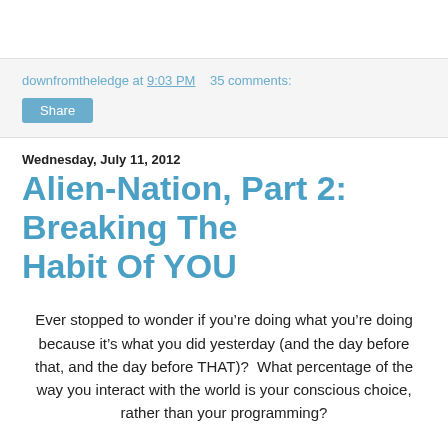downfromtheledge at 9:03 PM   35 comments:
Share
Wednesday, July 11, 2012
Alien-Nation, Part 2: Breaking The Habit Of YOU
Ever stopped to wonder if you’re doing what you’re doing because it’s what you did yesterday (and the day before that, and the day before THAT)?  What percentage of the way you interact with the world is your conscious choice, rather than your programming?
Some would say we are the sum of our habits, and Keith Clarke is one of those people.  His blog Breaking The Habit of Me challenges us to